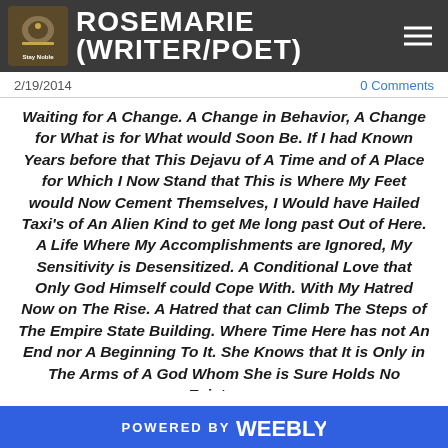ROSEMARIE (WRITER/POET)
2/19/2014
0 Comments
Waiting for A Change. A Change in Behavior, A Change for What is for What would Soon Be. If I had Known Years before that This Dejavu of A Time and of A Place for Which I Now Stand that This is Where My Feet would Now Cement Themselves, I Would have Hailed Taxi's of An Alien Kind to get Me long past Out of Here. A Life Where My Accomplishments are Ignored, My Sensitivity is Desensitized. A Conditional Love that Only God Himself could Cope With. With My Hatred Now on The Rise. A Hatred that can Climb The Steps of The Empire State Building. Where Time Here has not An End nor A Beginning To It. She Knows that It is Only in The Arms of A God Whom She is Sure Holds No Existence
POWERED BY weebly